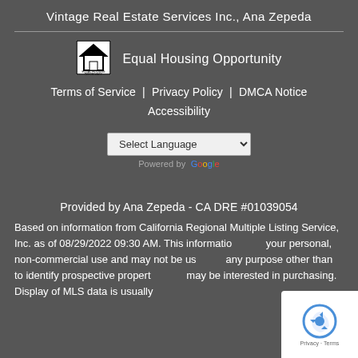Vintage Real Estate Services Inc., Ana Zepeda
[Figure (logo): Equal Housing Opportunity logo (house with equal sign)]
Equal Housing Opportunity
Terms of Service | Privacy Policy | DMCA Notice
Accessibility
[Figure (other): Select Language dropdown with Google Translate 'Powered by Google' label]
Provided by Ana Zepeda - CA DRE #01039054
Based on information from California Regional Multiple Listing Service, Inc. as of 08/29/2022 09:30 AM. This information is for your personal, non-commercial use and may not be used for any purpose other than to identify prospective properties you may be interested in purchasing. Display of MLS data is usually